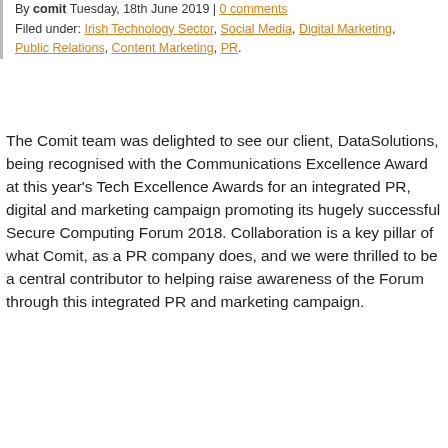By comit Tuesday, 18th June 2019 | 0 comments
Filed under: Irish Technology Sector, Social Media, Digital Marketing, Public Relations, Content Marketing, PR.
The Comit team was delighted to see our client, DataSolutions, being recognised with the Communications Excellence Award at this year's Tech Excellence Awards for an integrated PR, digital and marketing campaign promoting its hugely successful Secure Computing Forum 2018. Collaboration is a key pillar of what Comit, as a PR company does, and we were thrilled to be a central contributor to helping raise awareness of the Forum through this integrated PR and marketing campaign.
Blog RSS Feed
Categories
Content Marketing 68
Crisis Communications 19
Digital Marketing 72
Irish Technology Sector 75
PR 75